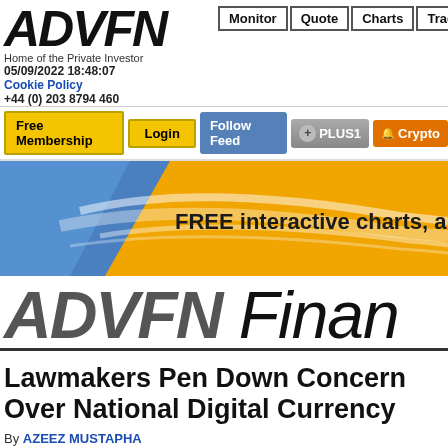[Figure (logo): ADVFN logo with tagline 'Home of the Private Investor', date '05/09/2022 18:48:07', Cookie Policy link, phone '+44 (0) 203 8794 460', and navigation tabs Monitor, Quote, Charts, Trades]
[Figure (screenshot): Button row with Free Membership, Login (yellow buttons), Follow Feed (blue), +1 PLUS1 (gray), Crypto (orange) buttons]
[Figure (illustration): Yellow and blue banner with text 'FREE interactive charts, analy...']
[Figure (logo): ADVFN Finance brand logo in large italic font]
Lawmakers Pen Down Concerns Over National Digital Currency
By AZEEZ MUSTAPHA